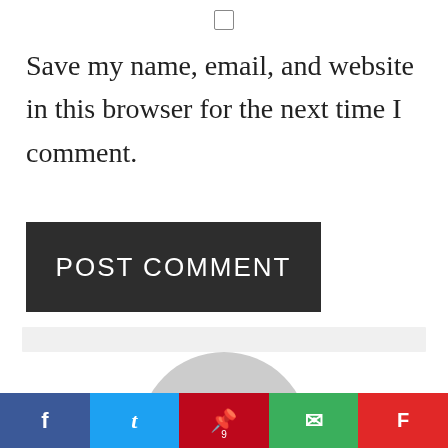[Figure (other): Checkbox (unchecked) UI element]
Save my name, email, and website in this browser for the next time I comment.
[Figure (other): POST COMMENT button — dark background with white uppercase text]
[Figure (other): Gray horizontal bar and partial avatar circle image]
[Figure (other): Social sharing bar with Facebook, Twitter, Pinterest (9), Email, and Flipboard buttons]